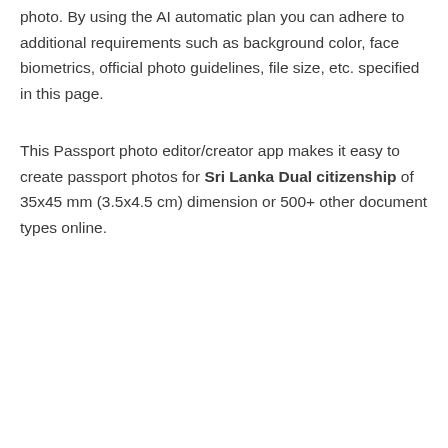photo. By using the AI automatic plan you can adhere to additional requirements such as background color, face biometrics, official photo guidelines, file size, etc. specified in this page.
This Passport photo editor/creator app makes it easy to create passport photos for Sri Lanka Dual citizenship of 35x45 mm (3.5x4.5 cm) dimension or 500+ other document types online.